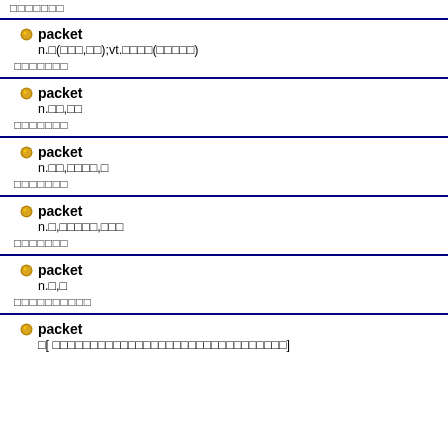xxxxxxx
packet
n.□(□□□,□□);vt.□□□□(□□□□□)
□□□□□□□
packet
n.□□,□□
□□□□□□□
packet
n.□□,□□□□,□
□□□□□□□
packet
n.□,□□□□□,□□□
□□□□□□□
packet
n.□,□
□□□□□□□□□□
packet
□[ □□□□□□□□□□□□□□□□□□□□□□□□□□□□]